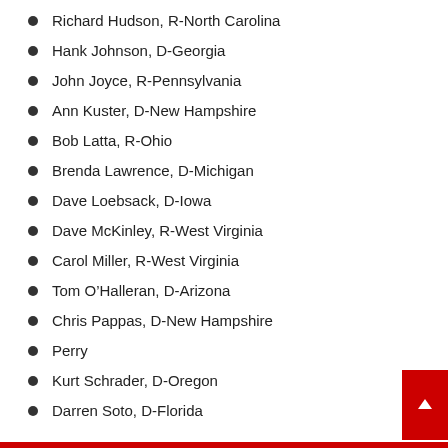Richard Hudson, R-North Carolina
Hank Johnson, D-Georgia
John Joyce, R-Pennsylvania
Ann Kuster, D-New Hampshire
Bob Latta, R-Ohio
Brenda Lawrence, D-Michigan
Dave Loebsack, D-Iowa
Dave McKinley, R-West Virginia
Carol Miller, R-West Virginia
Tom O’Halleran, D-Arizona
Chris Pappas, D-New Hampshire
Perry
Kurt Schrader, D-Oregon
Darren Soto, D-Florida